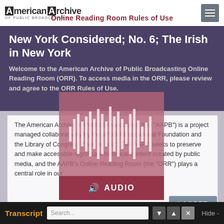[Figure (screenshot): American Archive of Public Broadcasting website screenshot showing the Online Reading Room Rules of Use modal overlay on top of a media page for 'New York Considered; No. 6; The Irish in New York'. The page has a navigation bar with the AAPB logo, a hamburger menu, a dark purple banner with the content title, a scrollable terms of use text box, an audio player overlay with waveform visualization, an I AGREE button, and a transcript search bar at the bottom.]
Online Reading Room Rules of Use
New York Considered; No. 6; The Irish in New York
Welcome to the American Archive of Public Broadcasting Online Reading Room (ORR). To access media in the ORR, please review and agree to the ORR Rules of Use.
The American Archive of Public Broadcasting (the "AAPB") is a project managed collaboratively by the WGBH Educational Foundation and the Library of Congress ("we" or "us"). The AAPB seeks to preserve and make accessible significant historical content created by public media, and the AAPB's Online Reading Room (the "ORR") plays a central role in our
AUDIO
I AGREE
Transcript
Search...
Hide -